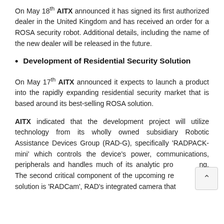On May 18th AITX announced it has signed its first authorized dealer in the United Kingdom and has received an order for a ROSA security robot. Additional details, including the name of the new dealer will be released in the future.
Development of Residential Security Solution
On May 17th AITX announced it expects to launch a product into the rapidly expanding residential security market that is based around its best-selling ROSA solution.
AITX indicated that the development project will utilize technology from its wholly owned subsidiary Robotic Assistance Devices Group (RAD-G), specifically 'RADPACK-mini' which controls the device's power, communications, peripherals and handles much of its analytic processing. The second critical component of the upcoming residential solution is 'RADCam', RAD's integrated camera that